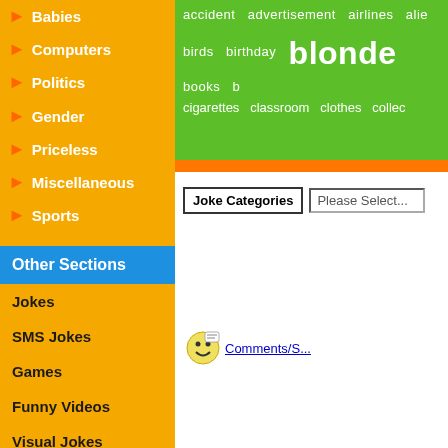➤ Babies
➤ Computers
➤ Politics
➤ Gender
➤ Priceless
➤ Miscellaneous
➤ Sports
[Figure (other): Green tag cloud showing joke keywords: accident, advertisement, airlines, birds, birthday, blonde, books, cigarettes, classroom, clothes, collec...]
Other Sections
Jokes
SMS Jokes
Games
Funny Videos
Visual Jokes
Home
Joke Categories | Please Select...
Comments/S...